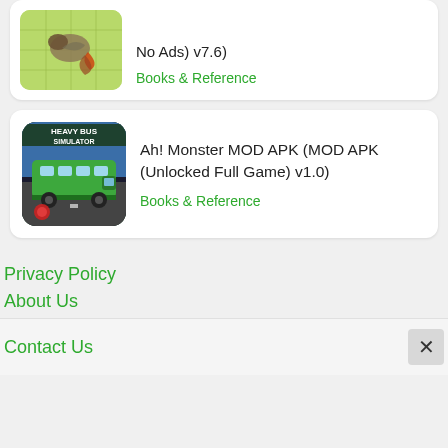[Figure (screenshot): App listing card (partial): bird image thumbnail with 'No Ads) v7.6)' title text and 'Books & Reference' category label in green]
[Figure (screenshot): App listing card: Heavy Bus Simulator thumbnail image with 'Ah! Monster MOD APK (MOD APK (Unlocked Full Game) v1.0)' title and 'Books & Reference' category label in green]
Privacy Policy
About Us
Contact Us